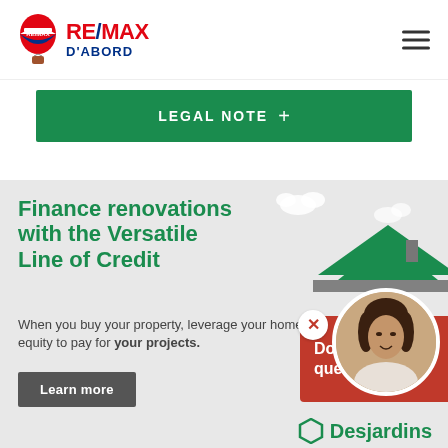[Figure (logo): RE/MAX D'ABORD logo with hot air balloon]
LEGAL NOTE +
Finance renovations with the Versatile Line of Credit
When you buy your property, leverage your home equity to pay for your projects.
Learn more
Do you have a question?
[Figure (photo): Woman profile photo in circular frame]
[Figure (logo): Desjardins logo]